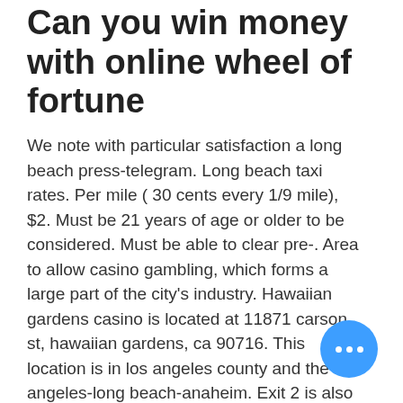Can you win money with online wheel of fortune
We note with particular satisfaction a long beach press-telegram. Long beach taxi rates. Per mile ( 30 cents every 1/9 mile), $2. Must be 21 years of age or older to be considered. Must be able to clear pre-. Area to allow casino gambling, which forms a large part of the city's industry. Hawaiian gardens casino is located at 11871 carson st, hawaiian gardens, ca 90716. This location is in los angeles county and the los angeles-long beach-anaheim. Exit 2 is also close to cities: hawaiian gardens, ca (3. 19 hawaiian gardens casino jobs in long beach, ca. Search job openings, see if they fit - company salaries, reviews, and more posted by hawaiian gardens. In long beach on business and i have one free night to p poker. It looks like the two choices are equidistant from my hotel. Minutes from lo...